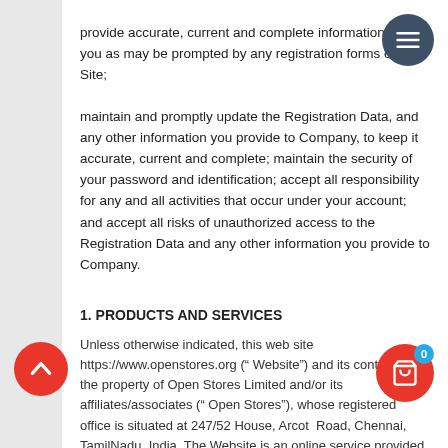provide accurate, current and complete information about you as may be prompted by any registration forms on the Site;
maintain and promptly update the Registration Data, and any other information you provide to Company, to keep it accurate, current and complete; maintain the security of your password and identification; accept all responsibility for any and all activities that occur under your account; and accept all risks of unauthorized access to the Registration Data and any other information you provide to Company.
1. PRODUCTS AND SERVICES
Unless otherwise indicated, this web site https://www.openstores.org (“ Website”) and its contents are the property of Open Stores Limited and/or its affiliates/associates (“ Open Stores”), whose registered office is situated at 247/52 House, Arcot  Road, Chennai, TamilNadu, India. The Website is an online service provided by Open Stores, subject